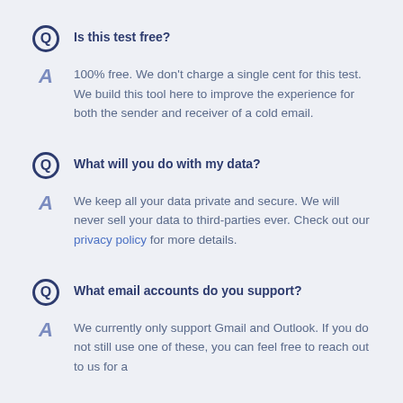Is this test free?
100% free. We don't charge a single cent for this test. We build this tool here to improve the experience for both the sender and receiver of a cold email.
What will you do with my data?
We keep all your data private and secure. We will never sell your data to third-parties ever. Check out our privacy policy for more details.
What email accounts do you support?
We currently only support Gmail and Outlook. If you do not still use one of these, you can feel free to reach out to us for a feature request.